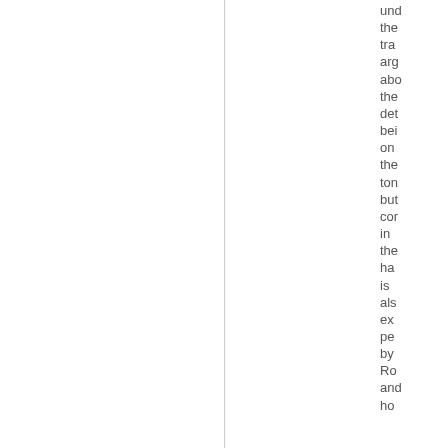und the tra arg abo the det bei on the ton but cor in the ha is als ex pe by Ro and ho